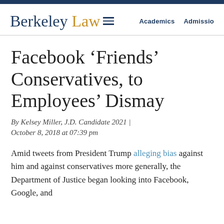Berkeley Law | Academics | Admissions
Facebook ‘Friends’ Conservatives, to Employees’ Dismay
By Kelsey Miller, J.D. Candidate 2021 | October 8, 2018 at 07:39 pm
Amid tweets from President Trump alleging bias against him and against conservatives more generally, the Department of Justice began looking into Facebook, Google, and